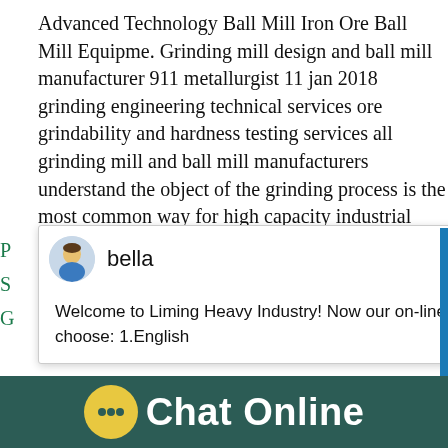Advanced Technology Ball Mill Iron Ore Ball Mill Equipme. Grinding mill design and ball mill manufacturer 911 metallurgist 11 jan 2018 grinding engineering technical services ore grindability and hardness testing services all grinding mill and ball mill manufacturers understand the object of the grinding process is the most common way for high capacity industrial purposes is to use a tumbling ...
[Figure (screenshot): Chat popup from Liming Heavy Industry with avatar of 'bella' and message: Welcome to Liming Heavy Industry! Now our on-line service is chatting with you! please choose: 1.English]
Finished product fineness:0-10mm 10-20mm
[Figure (photo): Industrial ball mill / grinding equipment photo showing metal structure]
[Figure (screenshot): Right side widget showing industrial machinery image with notification circle showing '1' and 'Click me to chat>>' button]
Chat Online